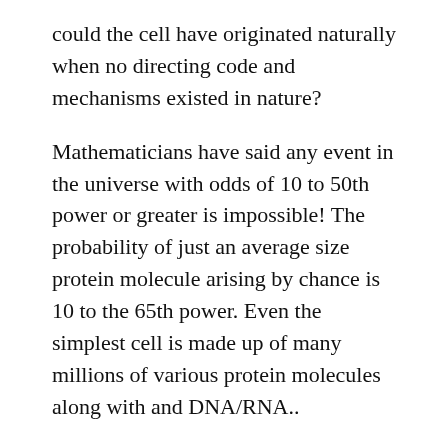could the cell have originated naturally when no directing code and mechanisms existed in nature?
Mathematicians have said any event in the universe with odds of 10 to 50th power or greater is impossible! The probability of just an average size protein molecule arising by chance is 10 to the 65th power. Even the simplest cell is made up of many millions of various protein molecules along with and DNA/RNA..
The late great British scientist Sir Frederick Hoyle calculated that the odds of even the simplest cell coming into existence by chance is 10 to the 40,000th